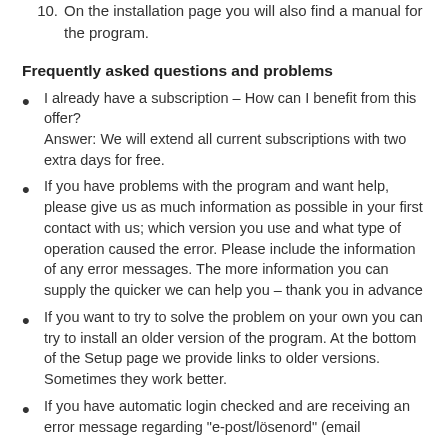10. On the installation page you will also find a manual for the program.
Frequently asked questions and problems
I already have a subscription – How can I benefit from this offer?
Answer: We will extend all current subscriptions with two extra days for free.
If you have problems with the program and want help, please give us as much information as possible in your first contact with us; which version you use and what type of operation caused the error. Please include the information of any error messages. The more information you can supply the quicker we can help you – thank you in advance
If you want to try to solve the problem on your own you can try to install an older version of the program. At the bottom of the Setup page we provide links to older versions. Sometimes they work better.
If you have automatic login checked and are receiving an error message regarding "e-post/lösenord" (email